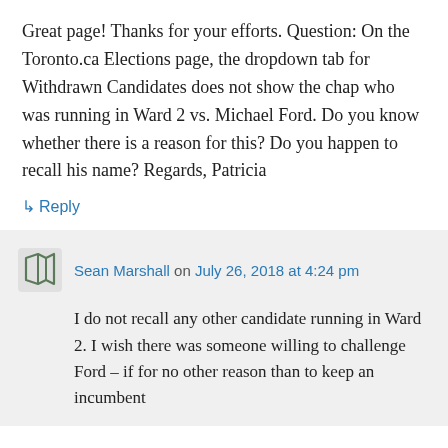Great page! Thanks for your efforts. Question: On the Toronto.ca Elections page, the dropdown tab for Withdrawn Candidates does not show the chap who was running in Ward 2 vs. Michael Ford. Do you know whether there is a reason for this? Do you happen to recall his name? Regards, Patricia
↳ Reply
Sean Marshall on July 26, 2018 at 4:24 pm
I do not recall any other candidate running in Ward 2. I wish there was someone willing to challenge Ford – if for no other reason than to keep an incumbent